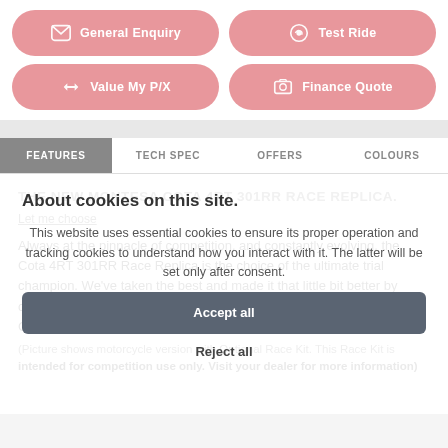[Figure (screenshot): Two pink pill-shaped buttons: 'General Enquiry' with envelope icon, and 'Test Ride' with helmet icon]
[Figure (screenshot): Two pink pill-shaped buttons: 'Value My P/X' with exchange icon, and 'Finance Quote' with camera/money icon]
FEATURES | TECH SPEC | OFFERS | COLOURS
About cookies on this site.
This website uses essential cookies to ensure its proper operation and tracking cookies to understand how you interact with it. The latter will be set only after consent.
Let me choose
Accept all
Reject all
THE NEW MONTESA COTA 4RT 301RR RACE REPLICA.
Always at the pinnacle of competition, and constantly evolving, the Cota 4RT 301RR Race Replica is the choice of the ultimate trial champion. We've taken the best and made it that little bit better by creating a Race Replica that includes a distinguished World Championship decoration.
(Picture shows motorcycle version with Optional Race Kit. This Race Kit is intended for competition use only. Visit your dealer for more information)